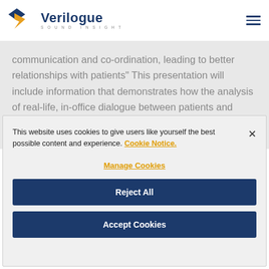[Figure (logo): Verilogue Sound Insight logo with blue diamond and gold arrow shapes, navy blue text]
communication and co-ordination, leading to better relationships with patients" This presentation will include information that demonstrates how the analysis of real-life, in-office dialogue between patients and physicians is critical to revealing
This website uses cookies to give users like yourself the best possible content and experience. Cookie Notice.
Manage Cookies
Reject All
Accept Cookies